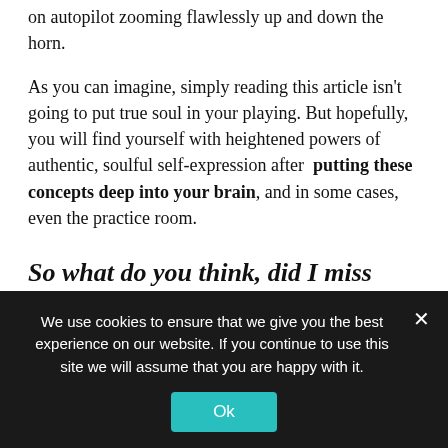on autopilot zooming flawlessly up and down the horn.
As you can imagine, simply reading this article isn't going to put true soul in your playing. But hopefully, you will find yourself with heightened powers of authentic, soulful self-expression after putting these concepts deep into your brain, and in some cases, even the practice room.
So what do you think, did I miss anything, does this resonate with you?
We use cookies to ensure that we give you the best experience on our website. If you continue to use this site we will assume that you are happy with it.